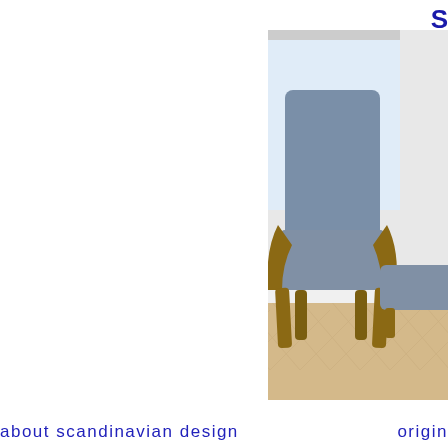S
[Figure (photo): Scandinavian interior design scene featuring a high-back lounge chair with blue/grey sheepskin upholstery and wooden frame with matching footstool, a white rolling bar cart with decorative items and books, and a white sculptural floor lamp, all on a herringbone parquet floor in a bright room.]
about scandinavian design    origin